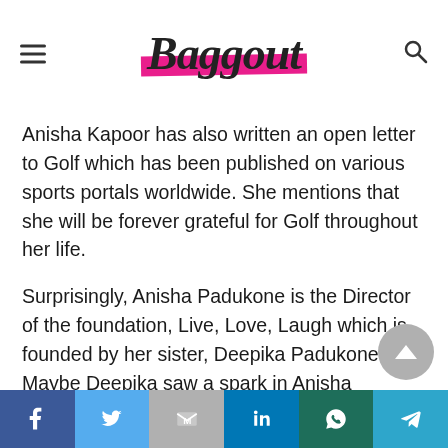Baggout
Anisha Kapoor has also written an open letter to Golf which has been published on various sports portals worldwide. She mentions that she will be forever grateful for Golf throughout her life.
Surprisingly, Anisha Padukone is the Director of the foundation, Live, Love, Laugh which is founded by her sister, Deepika Padukone. Maybe Deepika saw a spark in Anisha Padukone that led to her making Anisha the Director.
Anisha loves to listen to A.R. Rahman, Kishore
Facebook | Twitter | Gmail | LinkedIn | WhatsApp | Telegram